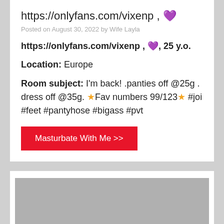https://onlyfans.com/vixenp , 💜
Posted on August 30, 2022 by Wife Layla
https://onlyfans.com/vixenp , 💜, 25 y.o.
Location: Europe
Room subject: I'm back! .panties off @25g . dress off @35g. ⭐Fav numbers 99/123⭐ #joi #feet #pantyhose #bigass #pvt
[Figure (other): Red call-to-action button labeled 'Masturbate With Me >>']
[Figure (photo): Partially visible grey/blurred image in bottom card]